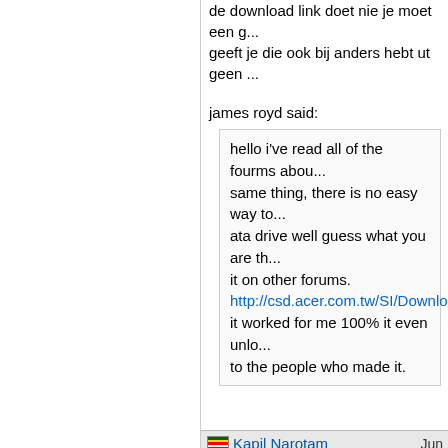de download link doet nie je moet een g... geeft je die ook bij anders hebt ut geen ...
james royd said:
hello i've read all of the fourms abou... same thing, there is no easy way to... ata drive well guess what you are th... it on other forums. http://csd.acer.com.tw/SI/Download... it worked for me 100% it even unlo... to the people who made it.
Kapil Narotam   Jun
>> Re: HDD Password bypass on boo... hi please help me i have a toshiba lapto... .i then switched it off and then started it... i try to format it with the disks which com... off and then i start again and it now asks...
please help
thank kaps
Dav G   Jun
Re: HDD Password bypass on ...